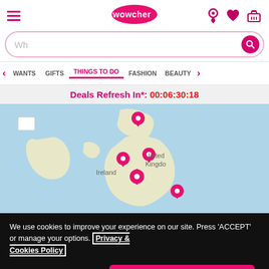Wowcher website header with hamburger menu, logo, and icons
Wh (search bar placeholder)
WANTS | GIFTS | THINGS TO DO | FASHION | BEAUTY
Deals Refresh In*: 00:06:30:18
[Figure (map): Map of United Kingdom and Ireland with pink location pin markers scattered across England]
We use cookies to improve your experience on our site. Press 'ACCEPT' or manage your options. Privacy & Cookies Policy
Options | ACCEPT